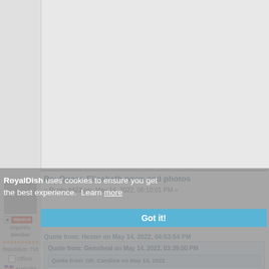[Figure (screenshot): Forum webpage screenshot showing a cookie consent overlay and a forum post with user info sidebar. The post is titled 'Re: Queen Elizabeth news and photos', reply #422 on May 14, 2022. User shown as 'Wanted', Gigantic Member, Reputation 793, from Australia. Cookie banner reads 'RoyalDish uses cookies to ensure you get the best experience. Learn more' with a 'Got it!' button. Nested quote blocks are visible at the bottom.]
RoyalDish uses cookies to ensure you get the best experience. Learn more
Got it!
Re: Queen Elizabeth news and photos
« Reply #422 on: May 14, 2022, 06:10:01 PM »
Wanted
Gigantic Member
Reputation: 793
Offline
Australia
Quote from: Hester on May 14, 2022, 04:53:54 PM
Quote from: Gemsheal on May 14, 2022, 03:39:00 PM
Quote from: Oh_Caroline on May 13, 2022